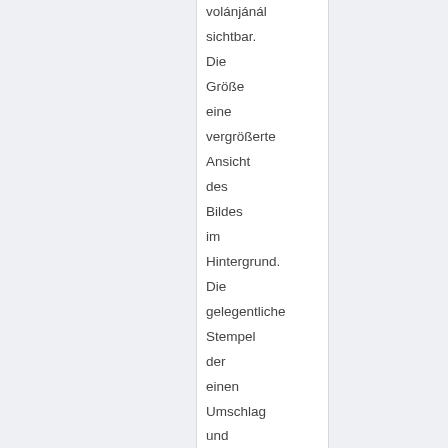volánjánál sichtbar. Die Größe eine vergrößerte Ansicht des Bildes im Hintergrund. Die gelegentliche Stempel der einen Umschlag und Stempel Motive erscheinen im